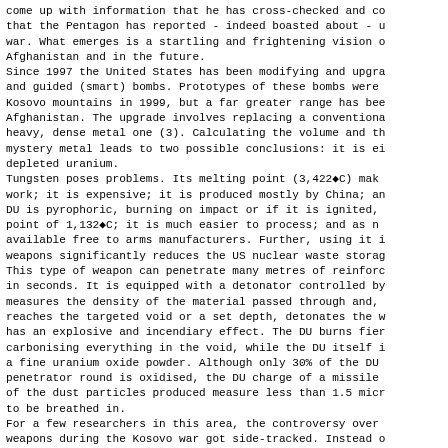come up with information that he has cross-checked and co that the Pentagon has reported - indeed boasted about - u war. What emerges is a startling and frightening vision o Afghanistan and in the future.
Since 1997 the United States has been modifying and upgra and guided (smart) bombs. Prototypes of these bombs were Kosovo mountains in 1999, but a far greater range has bee Afghanistan. The upgrade involves replacing a conventiona heavy, dense metal one (3). Calculating the volume and th mystery metal leads to two possible conclusions: it is ei depleted uranium.
Tungsten poses problems. Its melting point (3,422◆C) mak work; it is expensive; it is produced mostly by China; an DU is pyrophoric, burning on impact or if it is ignited, point of 1,132◆C; it is much easier to process; and as n available free to arms manufacturers. Further, using it i weapons significantly reduces the US nuclear waste storag This type of weapon can penetrate many metres of reinforc in seconds. It is equipped with a detonator controlled by measures the density of the material passed through and, reaches the targeted void or a set depth, detonates the w has an explosive and incendiary effect. The DU burns fier carbonising everything in the void, while the DU itself i a fine uranium oxide powder. Although only 30% of the DU penetrator round is oxidised, the DU charge of a missile of the dust particles produced measure less than 1.5 micr to be breathed in.
For a few researchers in this area, the controversy over weapons during the Kosovo war got side-tracked. Instead of weapons might have been used against most of the targeto